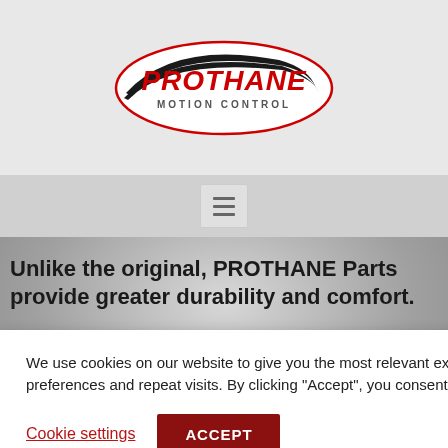[Figure (logo): Prothane Motion Control logo — oval shape with black swoosh, red bold text PROTHANE, gray text MOTION CONTROL]
[Figure (screenshot): Hamburger menu button (three horizontal lines) on a gray navigation bar]
Unlike the original, PROTHANE Parts provide greater durability and comfort.
Total Kit
We use cookies on our website to give you the most relevant experience by remembering your preferences and repeat visits. By clicking “Accept”, you consent to the use of ALL the cookies.
Cookie settings
ACCEPT